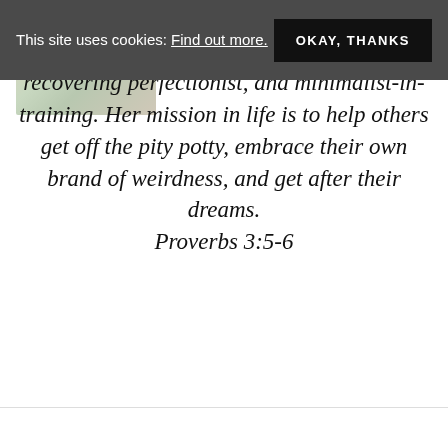This site uses cookies: Find out more. | OKAY, THANKS
[Figure (photo): Partial photo of a person outdoors, showing shoulder/arm area with light colored clothing and greenery in background]
running coach, recovering perfectionist, and minimalist-in-training. Her mission in life is to help others get off the pity potty, embrace their own brand of weirdness, and get after their dreams. Proverbs 3:5-6